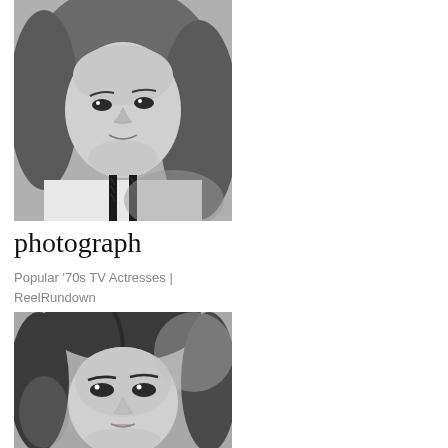[Figure (photo): Black and white portrait photograph of a woman with flowing hair, wearing a top with decorative trim, smiling slightly at the camera]
photograph
Popular '70s TV Actresses | ReelRundown
[Figure (photo): Black and white portrait photograph of a woman with dark hair, looking directly at the camera with a serious expression]